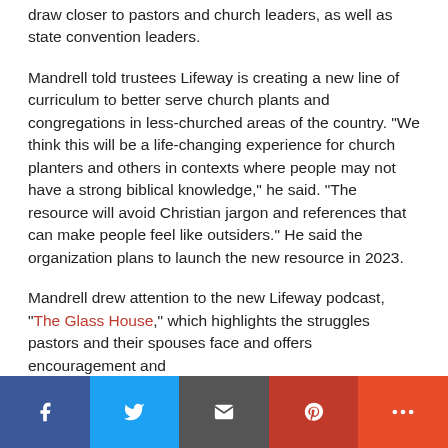draw closer to pastors and church leaders, as well as state convention leaders.
Mandrell told trustees Lifeway is creating a new line of curriculum to better serve church plants and congregations in less-churched areas of the country. "We think this will be a life-changing experience for church planters and others in contexts where people may not have a strong biblical knowledge," he said. "The resource will avoid Christian jargon and references that can make people feel like outsiders." He said the organization plans to launch the new resource in 2023.
Mandrell drew attention to the new Lifeway podcast, "The Glass House," which highlights the struggles pastors and their spouses face and offers encouragement and
Facebook | Twitter | Email | Pinterest | More